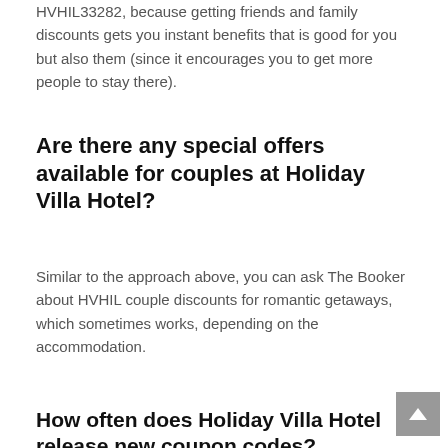HVHIL33282, because getting friends and family discounts gets you instant benefits that is good for you but also them (since it encourages you to get more people to stay there).
Are there any special offers available for couples at Holiday Villa Hotel?
Similar to the approach above, you can ask The Booker about HVHIL couple discounts for romantic getaways, which sometimes works, depending on the accommodation.
How often does Holiday Villa Hotel release new coupon codes?
If there are, indeed, HVHIL coupon codes, promo codes, etc., then The Booker would be the best person to ask about how often such Holiday Villa Hotel discounts are released.